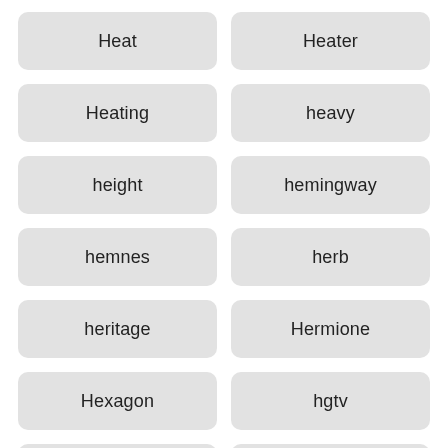Heat
Heater
Heating
heavy
height
hemingway
hemnes
herb
heritage
Hermione
Hexagon
hgtv
hidden
Hide
high
Highlights
hill
hillary
hillside
himalayan